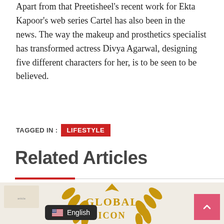Apart from that Preetisheel's recent work for Ekta Kapoor's web series Cartel has also been in the news. The way the makeup and prosthetics specialist has transformed actress Divya Agarwal, designing five different characters for her, is to be seen to be believed.
TAGGED IN : LIFESTYLE
Related Articles
[Figure (photo): Gold laurel wreath award image with text GLOBAL ICON, with a thumbnail page in top-left corner]